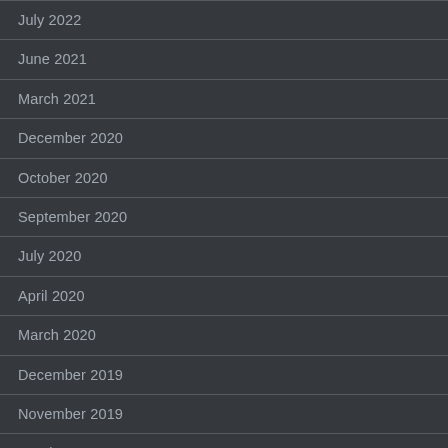July 2022
June 2021
March 2021
December 2020
October 2020
September 2020
July 2020
April 2020
March 2020
December 2019
November 2019
October 2019